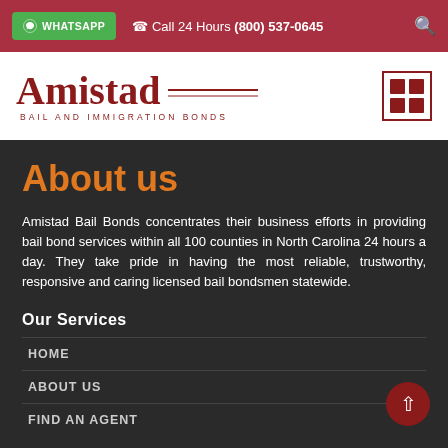WHATSAPP  Call 24 Hours (800) 537-0645
[Figure (logo): Amistad Bail and Immigration Bonds logo with grid icon]
About us
Amistad Bail Bonds concentrates their business efforts in providing bail bond services within all 100 counties in North Carolina 24 hours a day. They take pride in having the most reliable, trustworthy, responsive and caring licensed bail bondsmen statewide.
Our Services
HOME
ABOUT US
FIND AN AGENT